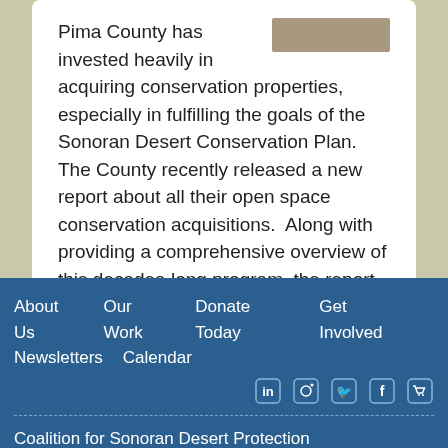Pima County has invested heavily in acquiring conservation properties, especially in fulfilling the goals of the Sonoran Desert Conservation Plan. The County recently released a new report about all their open space conservation acquisitions.  Along with providing a comprehensive overview of this decades-long program, the report specifically touches on the transparent public processes underlying the […]
See all updates
About Us   Our Work   Donate Today   Get Involved   Newsletters   Calendar
Coalition for Sonoran Desert Protection
738 N. 5th Ave., Suite 205